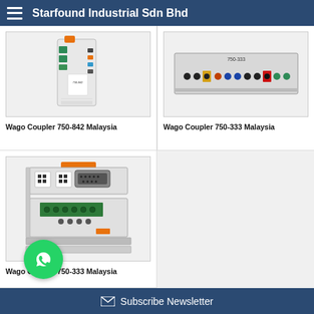Starfound Industrial Sdn Bhd
[Figure (photo): Wago Coupler 750-842 industrial module with orange and green connectors on DIN rail]
Wago Coupler 750-842 Malaysia
[Figure (photo): Wago Coupler 750-333 industrial I/O module with multicolored terminals, top view]
Wago Coupler 750-333 Malaysia
[Figure (photo): Wago Coupler 750-333 fieldbus coupler with DB9 serial connector and green terminal blocks]
Wago Coupler 750-333 Malaysia
Subscribe Newsletter